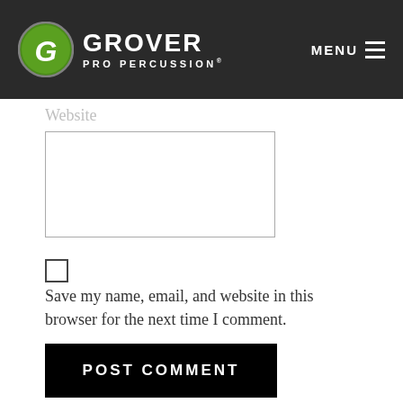Grover Pro Percussion | MENU
Website
Save my name, email, and website in this browser for the next time I comment.
POST COMMENT
[Figure (other): Row of six gray social media icon placeholder squares at the bottom of the page]